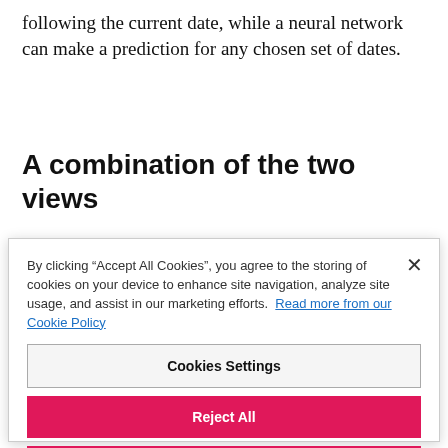following the current date, while a neural network can make a prediction for any chosen set of dates.
A combination of the two views
By clicking "Accept All Cookies", you agree to the storing of cookies on your device to enhance site navigation, analyze site usage, and assist in our marketing efforts.  Read more from our Cookie Policy
Cookies Settings
Reject All
Accept All Cookies